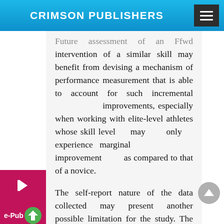CRIMSON PUBLISHERS
Future assessment of an Ffwd intervention of a similar skill may benefit from devising a mechanism of performance measurement that is able to account for such incremental improvements, especially when working with elite-level athletes whose skill level may only experience marginal improvement as compared to that of a novice.
The self-report nature of the data collected may present another possible limitation for the study. The methodology of this study relied on the subjects' self-reports to assess adherence to the Ffwd